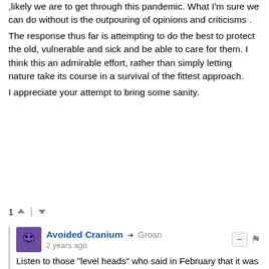,likely we are to get through this pandemic. What I'm sure we can do without is the outpouring of opinions and criticisms .
The response thus far is attempting to do the best to protect the old, vulnerable and sick and be able to care for them. I think this an admirable effort, rather than simply letting nature take its course in a survival of the fittest approach.
I appreciate your attempt to bring some sanity.
1 [upvote] | [downvote]
Avoided Cranium → Groan
2 years ago
Listen to those "level heads" who said in February that it was perfectly fine for a 100 flights from China to be landing in the UK every single day?
The level heads who said that there was no point thermal checking, testing or quarantining all those disembarking from Italy and all the other hotspots globally?
The level heads who said that the UK was so different demographically that there was no need to exercise precautionary measures that every other country was adopting?
The level heads who at the outset were clearly adopting a deliberate policy of allowing infections to progress in order to